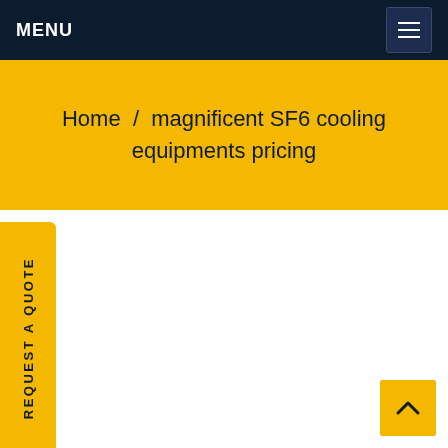MENU
Home  /  magnificent SF6 cooling equipments pricing
REQUEST A QUOTE